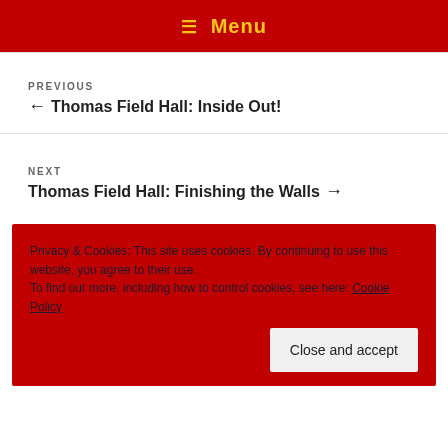☰ Menu
PREVIOUS
← Thomas Field Hall: Inside Out!
NEXT
Thomas Field Hall: Finishing the Walls →
Privacy & Cookies: This site uses cookies. By continuing to use this website, you agree to their use.
To find out more, including how to control cookies, see here: Cookie Policy
Close and accept